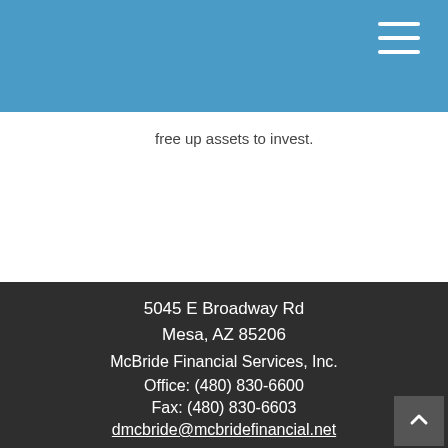[Figure (other): Blue header bar with hamburger menu icon in top right corner]
free up assets to invest.
5045 E Broadway Rd
Mesa, AZ 85206

McBride Financial Services, Inc.

Office: (480) 830-6600

Fax: (480) 830-6603

dmcbride@mcbridefinancial.net